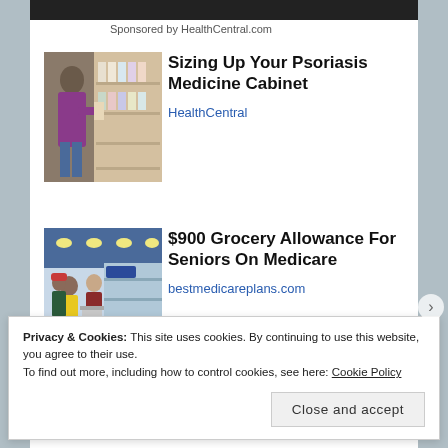Sponsored by HealthCentral.com
Sizing Up Your Psoriasis Medicine Cabinet
HealthCentral
[Figure (photo): Woman shopping in pharmacy/grocery aisle, examining product on shelf]
$900 Grocery Allowance For Seniors On Medicare
bestmedicareplans.com
[Figure (photo): Crowded grocery store aisle with shoppers and shopping carts]
Privacy & Cookies: This site uses cookies. By continuing to use this website, you agree to their use.
To find out more, including how to control cookies, see here: Cookie Policy
Close and accept